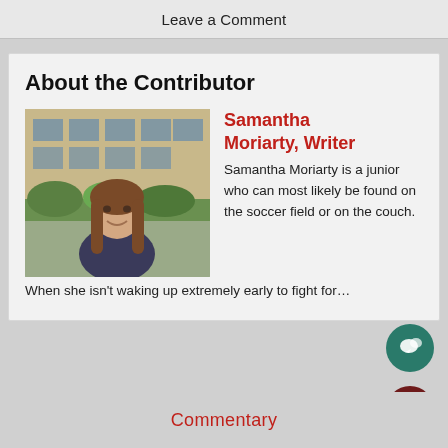Leave a Comment
About the Contributor
[Figure (photo): Portrait photo of Samantha Moriarty, a young woman with long brown hair, smiling outdoors in front of a brick building with greenery]
Samantha Moriarty, Writer
Samantha Moriarty is a junior who can most likely be found on the soccer field or on the couch. When she isn't waking up extremely early to fight for...
Commentary